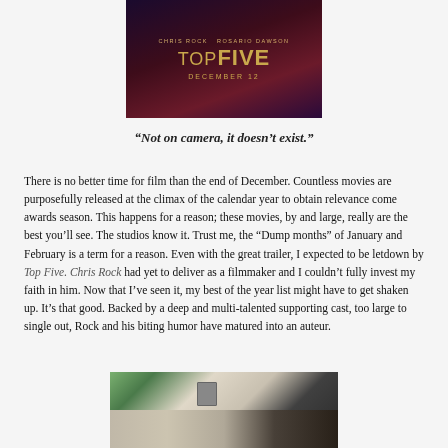[Figure (photo): Movie poster for 'Top Five' featuring Chris Rock and Rosario Dawson, with a dark purple/red background and gold text reading CHRIS ROCK ROSARIO DAWSON TOP FIVE DECEMBER 12]
“Not on camera, it doesn’t exist.”
There is no better time for film than the end of December. Countless movies are purposefully released at the climax of the calendar year to obtain relevance come awards season. This happens for a reason; these movies, by and large, really are the best you’ll see. The studios know it. Trust me, the “Dump months” of January and February is a term for a reason. Even with the great trailer, I expected to be letdown by Top Five. Chris Rock had yet to deliver as a filmmaker and I couldn’t fully invest my faith in him. Now that I’ve seen it, my best of the year list might have to get shaken up. It’s that good. Backed by a deep and multi-talented supporting cast, too large to single out, Rock and his biting humor have matured into an auteur.
[Figure (photo): Scene from Top Five showing a woman with blonde hair and a man with sunglasses, with a camera visible in the foreground]